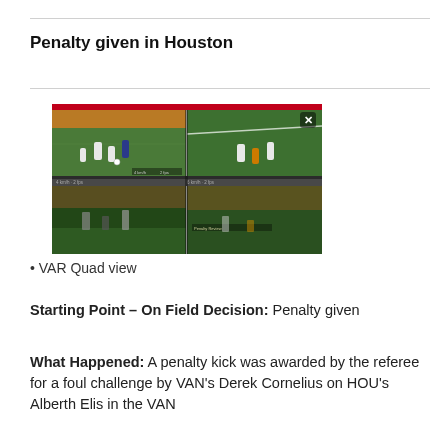Penalty given in Houston
[Figure (screenshot): VAR Quad view showing four video angles of a penalty foul challenge in a soccer match in Houston. Four split-screen views of the incident on green pitch with players in white and orange kits. A red bar at top and an X close button visible in upper right.]
VAR Quad view
Starting Point – On Field Decision: Penalty given
What Happened: A penalty kick was awarded by the referee for a foul challenge by VAN's Derek Cornelius on HOU's Alberth Elis in the VAN